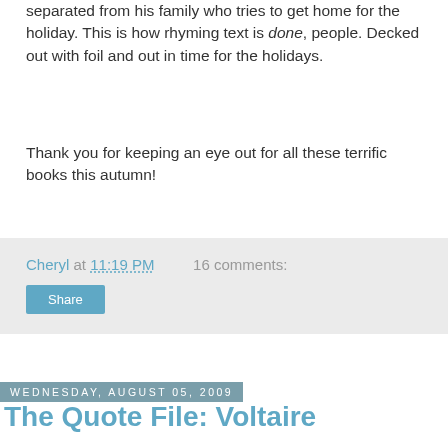separated from his family who tries to get home for the holiday. This is how rhyming text is done, people. Decked out with foil and out in time for the holidays.
Thank you for keeping an eye out for all these terrific books this autumn!
Cheryl at 11:19 PM    16 comments:
Share
Wednesday, August 05, 2009
The Quote File: Voltaire
Voltaire's real name was Francois-Marie Arouet, and he was one of those Enlightenment polymaths who, by their prodigious output, would seem to have spent every moment writing -- except, of course, he was also advising noblemen, running estates, having quarrels, getting exiled, and conducting scandalous affairs. And saying wise things along